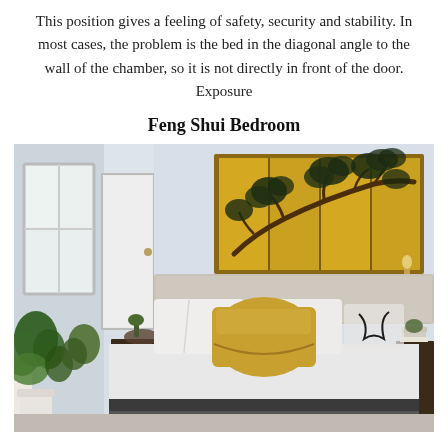This position gives a feeling of safety, security and stability. In most cases, the problem is the bed in the diagonal angle to the wall of the chamber, so it is not directly in front of the door. Exposure
Feng Shui Bedroom
[Figure (photo): A Feng Shui bedroom with a bed featuring white linens and a gold/mustard accent pillow. Above the bed headboard hangs a large framed Asian-style artwork depicting a pine tree branch on a gold background, divided into four panels. Nightstands on both sides, green plants on the left, and natural light from a window on the left side of the room.]